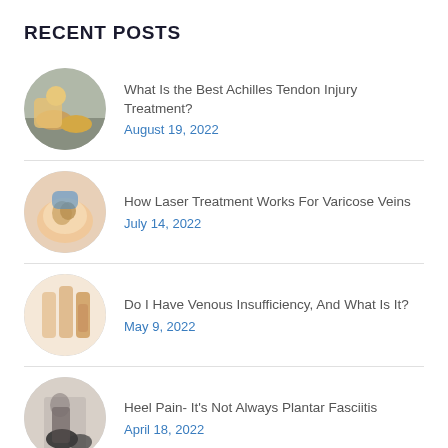RECENT POSTS
What Is the Best Achilles Tendon Injury Treatment? | August 19, 2022
How Laser Treatment Works For Varicose Veins | July 14, 2022
Do I Have Venous Insufficiency, And What Is It? | May 9, 2022
Heel Pain- It's Not Always Plantar Fasciitis | April 18, 2022